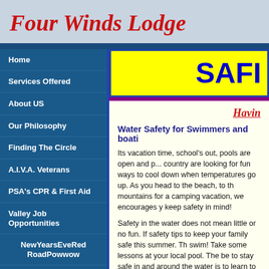Four Winds Lodge
Home
Services Offered
About US
Our Philosophy
Finding The Circle
A.I.V.A. Veterans
PSA's CPR & First Aid
Valley Job Opportunities
NewYearsEveRed RoadPowwow
Powwows In California
Spiritual Gatherings
SAFI
Havin
Water Safety for Swimmers and boati
Its vacation time, school's out, pools are open and p... country are looking for fun ways to cool down when temperatures go up. As you head to the beach, to th mountains for a camping vacation, we encourages y keep safety in mind!
Safety in the water does not mean little or no fun. If safety tips to keep your family safe this summer. Th swim! Take some lessons at your local pool. The be to stay safe in and around the water is to learn to sw with a buddy; never swim alone.